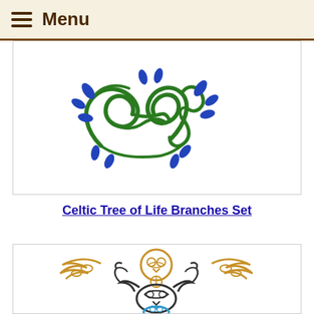Menu
[Figure (illustration): Celtic tree of life branches embroidery design — green interwoven knotwork vines with blue leaf accents on a white background]
Celtic Tree of Life Branches Set
[Figure (illustration): Celtic animal embroidery designs — golden owl with spread wings at top, black Celtic deer/stag head in center, blue Celtic cat/fox sitting at bottom, on white background]